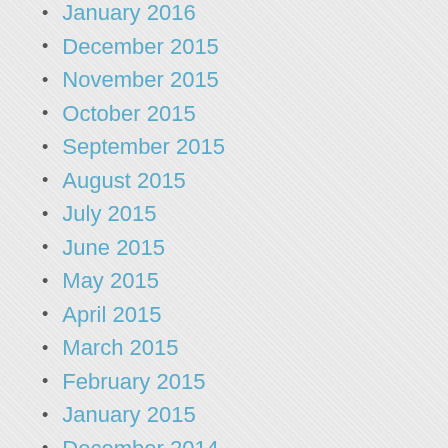January 2016
December 2015
November 2015
October 2015
September 2015
August 2015
July 2015
June 2015
May 2015
April 2015
March 2015
February 2015
January 2015
December 2014
November 2014
October 2014
September 2014
August 2014
July 2014